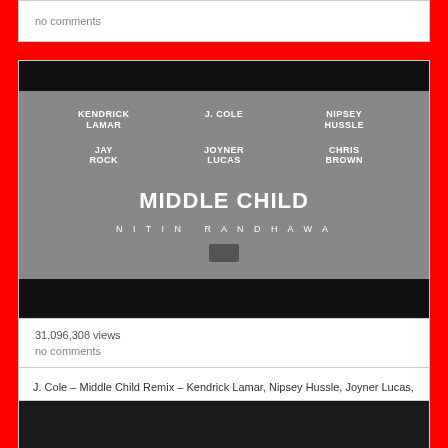no comments
[Figure (illustration): Album art for Middle Child Remix featuring KENDRICK LAMAR, J. COLE, NIPSEY HUSSLE, JAY ROCK, JOYNER LUCAS, CHRIS BROWN. Title: MIDDLE CHILD, Remix by: NITIN RANDHAWA]
Middle Child Remix – Kendrick Lamar, J. Cole, Nipsey Hussle,
J. Cole – Middle Child Remix – Kendrick Lamar, Nipsey Hussle, Joyner Lucas, Chris Brown, Jay Rock [Nitin Randhawa Remix] Make Sure To Subscribe and turn on the Notification to the official Nitin Randhawa channel [More]
31,096,308 views
no comments